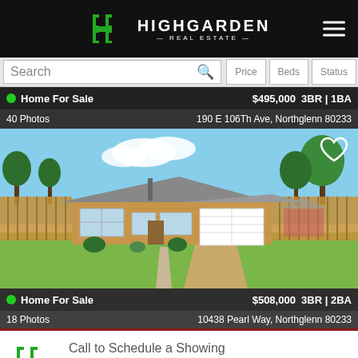HIGHGARDEN REAL ESTATE
Search | Price | Beds | Status
Home For Sale  $495,000  3BR | 1BA
40 Photos  190 E 106Th Ave, Northglenn 80233
[Figure (photo): Exterior photo of a single-story brick ranch home with white garage door, green lawn, and wood fencing, at 190 E 106Th Ave, Northglenn 80233]
Home For Sale  $508,000  3BR | 2BA
18 Photos  10438 Pearl Way, Northglenn 80233
Call to Schedule a Showing
(720) 580-6853